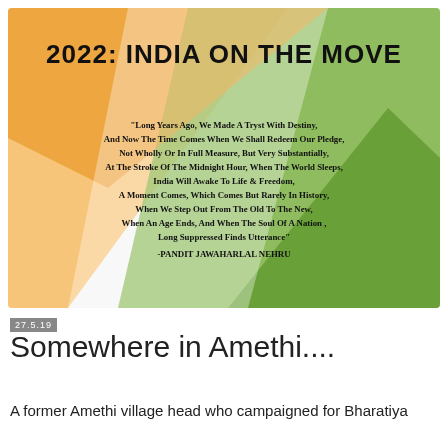[Figure (infographic): Infographic with Indian flag colors (saffron/orange, white, green) diagonal gradient background. Large bold title '2022: INDIA ON THE MOVE' at the top, followed by a Pandit Jawaharlal Nehru quote block in the center.]
27.5.19
Somewhere in Amethi....
A former Amethi village head who campaigned for Bharatiya